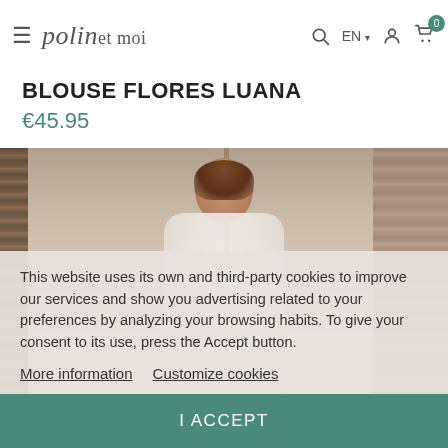polin et moi — EN — navigation header
BLOUSE FLORES LUANA
€45.95
[Figure (photo): Fashion model wearing a white lace blouse (BLOUSE FLORES LUANA) standing in front of a wooden door/cabinet in a neutral-toned interior setting]
This website uses its own and third-party cookies to improve our services and show you advertising related to your preferences by analyzing your browsing habits. To give your consent to its use, press the Accept button.
More information   Customize cookies
I ACCEPT